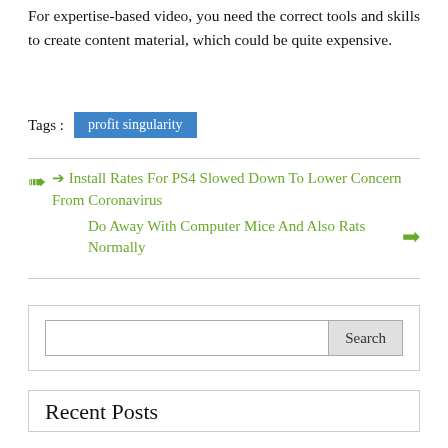For expertise-based video, you need the correct tools and skills to create content material, which could be quite expensive.
Tags : profit singularity
❮ Install Rates For PS4 Slowed Down To Lower Concern From Coronavirus
Do Away With Computer Mice And Also Rats Normally ❯
Search
Recent Posts